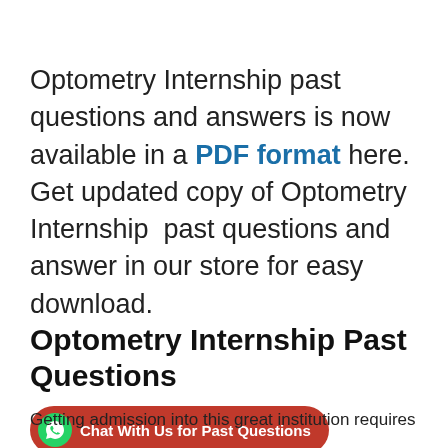Optometry Internship past questions and answers is now available in a PDF format here. Get updated copy of Optometry Internship past questions and answer in our store for easy download.
Optometry Internship Past Questions
[Figure (infographic): WhatsApp-style green circle icon with phone handset, followed by red pill-shaped button reading 'Chat With Us for Past Questions']
Getting admission into this great institution requires